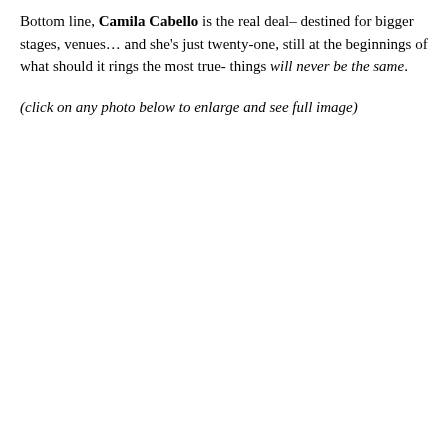Bottom line, Camila Cabello is the real deal– destined for bigger stages, venues… and she's just twenty-one, still at the beginnings of what should it rings the most true- things will never be the same.
(click on any photo below to enlarge and see full image)